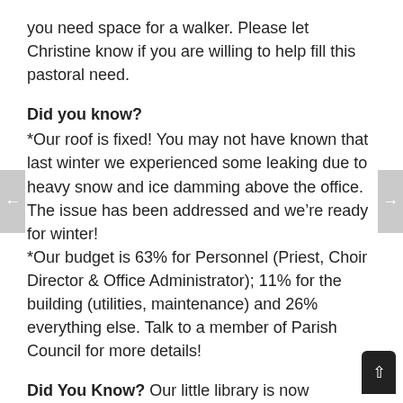you need space for a walker. Please let Christine know if you are willing to help fill this pastoral need.
Did you know?
*Our roof is fixed! You may not have known that last winter we experienced some leaking due to heavy snow and ice damming above the office. The issue has been addressed and we're ready for winter! *Our budget is 63% for Personnel (Priest, Choir Director & Office Administrator); 11% for the building (utilities, maintenance) and 26% everything else. Talk to a member of Parish Council for more details!
Did You Know? Our little library is now registered on the world map of Little Free Libraries! Check it out at https://littlefreelibrary.org/ourmap/
Communion Bread